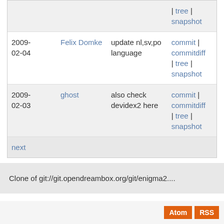| Date | Author | Message | Links |
| --- | --- | --- | --- |
|  |  |  | | tree | snapshot |
| 2009-02-04 | Felix Domke | update nl,sv,po language | commit | commitdiff | tree | snapshot |
| 2009-02-03 | ghost | also check devidex2 here | commit | commitdiff | tree | snapshot |
| next |  |  |  |
Clone of git://git.opendreambox.org/git/enigma2....
Atom  RSS